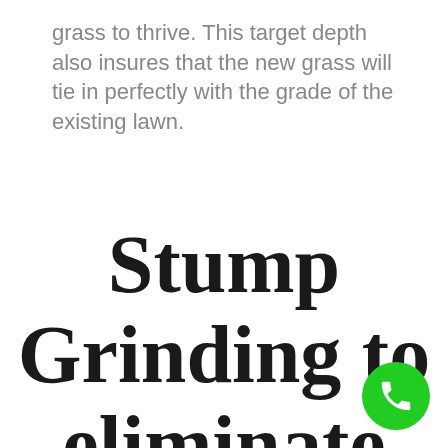grass to thrive. This target depth also insures that the new grass will tie in perfectly with the grade of the existing lawn.
Stump Grinding to eliminate mound and
[Figure (other): Green circular phone call button icon in bottom-right corner]